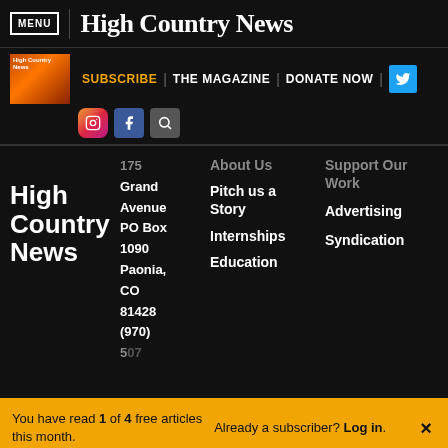MENU | High Country News
SUBSCRIBE | THE MAGAZINE | DONATE NOW
High Country News
175 Grand Avenue PO Box 1090 Paonia, CO 81428 (970) 5…
About Us
Pitch us a Story
Internships
Education
Support Our Work
Advertising
Syndication
You have read 1 of 4 free articles this month.
Already a subscriber? Log in.
Support independent journalism.
Subscribe